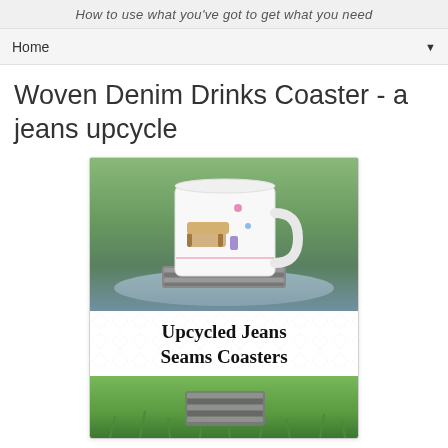How to use what you've got to get what you need
Home ▼
Woven Denim Drinks Coaster - a jeans upcycle
[Figure (photo): Photo of a decorated mug sitting on a woven denim seams coaster, with text overlay reading 'Upcycled Jeans Seams Coasters' and a second photo below showing another angle of the coaster on grass]